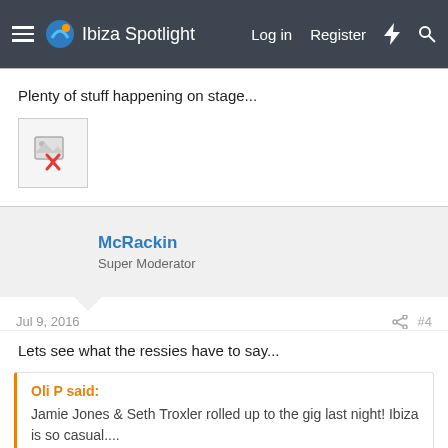Ibiza Spotlight  Log in  Register
Plenty of stuff happening on stage...
[Figure (photo): Broken image placeholder with red X]
McRackin
Super Moderator
Jul 9, 2016  #4
Lets see what the ressies have to say...
Oli P said:
Jamie Jones & Seth Troxler rolled up to the gig last night! Ibiza is so casual....